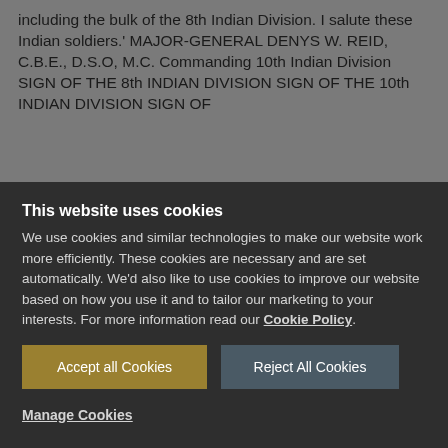including the bulk of the 8th Indian Division. I salute these Indian soldiers.' MAJOR-GENERAL DENYS W. REID, C.B.E., D.S.O, M.C. Commanding 10th Indian Division SIGN OF THE 8th INDIAN DIVISION SIGN OF THE 10th INDIAN DIVISION SIGN OF
This website uses cookies
We use cookies and similar technologies to make our website work more efficiently. These cookies are necessary and are set automatically. We'd also like to use cookies to improve our website based on how you use it and to tailor our marketing to your interests. For more information read our Cookie Policy.
Accept all Cookies
Reject All Cookies
Manage Cookies